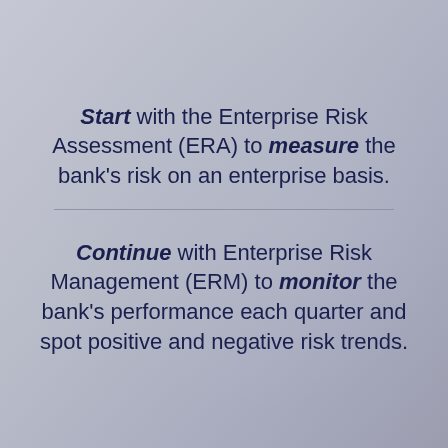[Figure (photo): A photograph of a book titled 'The Art of Enterprise Risk' shown at an angle as the background image, with a muted blue-grey color tone.]
Start with the Enterprise Risk Assessment (ERA) to measure the bank's risk on an enterprise basis.
Continue with Enterprise Risk Management (ERM) to monitor the bank's performance each quarter and spot positive and negative risk trends.